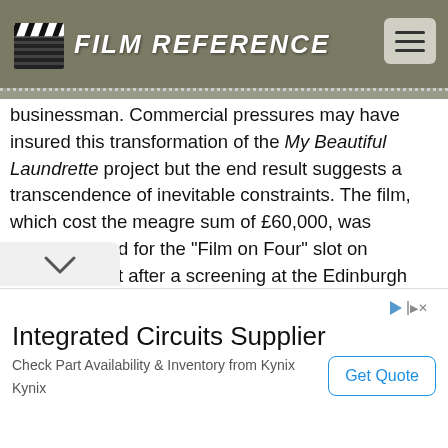FILM REFERENCE
businessman. Commercial pressures may have insured this transformation of the My Beautiful Laundrette project but the end result suggests a transcendence of inevitable constraints. The film, which cost the meagre sum of £60,000, was commissioned for the "Film on Four" slot on television, but after a screening at the Edinburgh festival had received enthusiastic reviews, it succeeded on the international cinema trail, picking up prizes and helping to provoke numerous claims of a British cinema renaissance.
Critical and box-office success is unusual for a film in which the main protagonist is black and gay, a representation which until My Beautiful Laundrette had been virtually absent from cinema. Kureishi has spoken of his positive prejudice
Integrated Circuits Supplier
Check Part Availability & Inventory from Kynix
Kynix